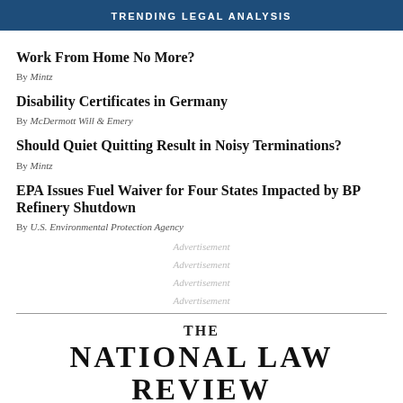TRENDING LEGAL ANALYSIS
Work From Home No More?
By Mintz
Disability Certificates in Germany
By McDermott Will & Emery
Should Quiet Quitting Result in Noisy Terminations?
By Mintz
EPA Issues Fuel Waiver for Four States Impacted by BP Refinery Shutdown
By U.S. Environmental Protection Agency
Advertisement
Advertisement
Advertisement
Advertisement
THE NATIONAL LAW REVIEW